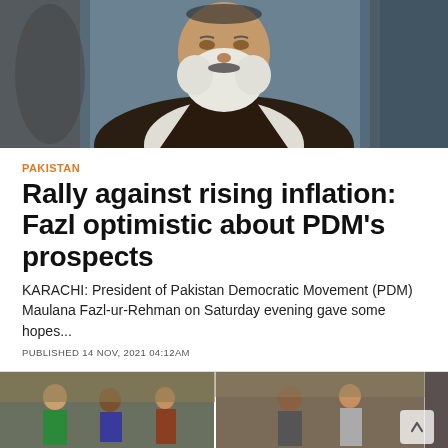[Figure (photo): Close-up photo of an elderly man with a white beard wearing a dark vest over white clothing, with blurred figures in background]
PAKISTAN
Rally against rising inflation: Fazl optimistic about PDM's prospects
KARACHI: President of Pakistan Democratic Movement (PDM) Maulana Fazl-ur-Rehman on Saturday evening gave some hopes...
PUBLISHED 14 NOV, 2021 04:12AM
[Figure (photo): Street market scene showing multiple people at what appears to be a market or bazaar, with stalls and goods visible, divided into three panels]